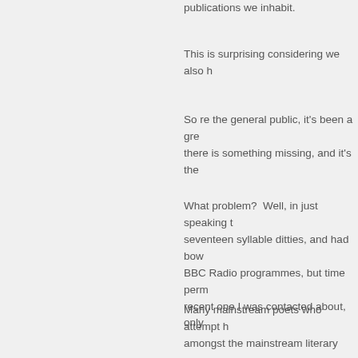publications we inhabit.
This is surprising considering we also h
So re the general public, it's been a gre there is something missing, and it's the
What problem?  Well, in just speaking t seventeen syllable ditties, and had bow BBC Radio programmes, but time perm recent one I was contacted about, only
Many mainstream poets who attempt h amongst the mainstream literary scene presumed it would be, and we see som must be bad.
More mainstream poets are jumping on childish, not childlike, verses, and the s
As you'll know, globally famous artist Je others, created American Renga, along included the Pentagon building itself. T
So yes, haikai verses are extremely rel